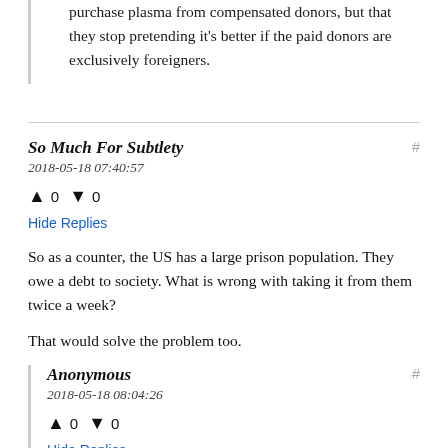purchase plasma from compensated donors, but that they stop pretending it's better if the paid donors are exclusively foreigners.
So Much For Subtlety
2018-05-18 07:40:57
↑ 0 ↓ 0
Hide Replies
So as a counter, the US has a large prison population. They owe a debt to society. What is wrong with taking it from them twice a week?
That would solve the problem too.
Anonymous
2018-05-18 08:04:26
↑ 0 ↓ 0
Hide Replies